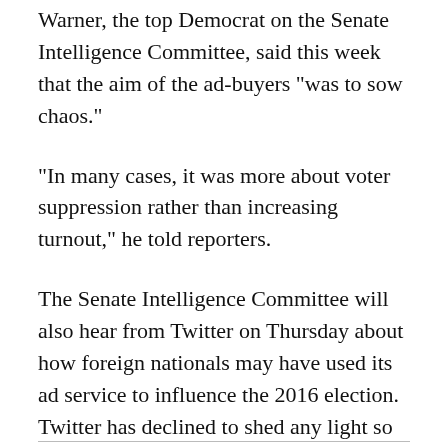Warner, the top Democrat on the Senate Intelligence Committee, said this week that the aim of the ad-buyers “was to sow chaos.”
“In many cases, it was more about voter suppression rather than increasing turnout,” he told reporters.
The Senate Intelligence Committee will also hear from Twitter on Thursday about how foreign nationals may have used its ad service to influence the 2016 election. Twitter has declined to shed any light so far on what information it plans to give to Congress.
http://money.cnn.com/2017/09/27/media/facebook-black-lives-matter-targeting/index.html